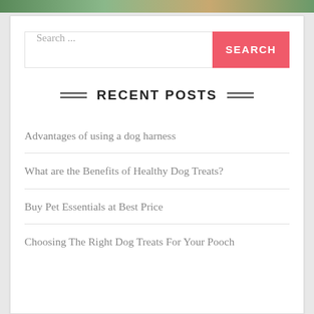[Figure (photo): Top image strip showing outdoor/nature scene]
Search ...
RECENT POSTS
Advantages of using a dog harness
What are the Benefits of Healthy Dog Treats?
Buy Pet Essentials at Best Price
Choosing The Right Dog Treats For Your Pooch